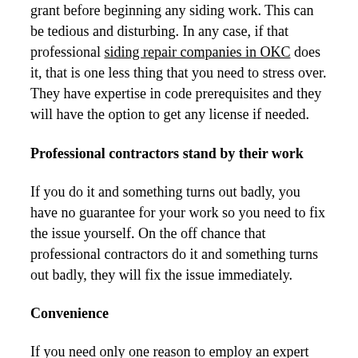grant before beginning any siding work. This can be tedious and disturbing. In any case, if that professional siding repair companies in OKC does it, that is one less thing that you need to stress over. They have expertise in code prerequisites and they will have the option to get any license if needed.
Professional contractors stand by their work
If you do it and something turns out badly, you have no guarantee for your work so you need to fix the issue yourself. On the off chance that professional contractors do it and something turns out badly, they will fix the issue immediately.
Convenience
If you need only one reason to employ an expert siding contractor, it may simply be that you can sit and